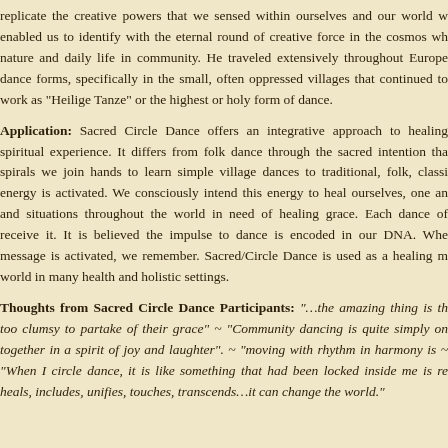replicate the creative powers that we sensed within ourselves and our world w enabled us to identify with the eternal round of creative force in the cosmos wh nature and daily life in community. He traveled extensively throughout Europe dance forms, specifically in the small, often oppressed villages that continued to work as "Heilige Tanze" or the highest or holy form of dance.
Application: Sacred Circle Dance offers an integrative approach to healing spiritual experience. It differs from folk dance through the sacred intention tha spirals we join hands to learn simple village dances to traditional, folk, classi energy is activated. We consciously intend this energy to heal ourselves, one an and situations throughout the world in need of healing grace. Each dance of receive it. It is believed the impulse to dance is encoded in our DNA. Whe message is activated, we remember. Sacred/Circle Dance is used as a healing m world in many health and holistic settings.
Thoughts from Sacred Circle Dance Participants: "…the amazing thing is th too clumsy to partake of their grace" ~ "Community dancing is quite simply on together in a spirit of joy and laughter". ~ "moving with rhythm in harmony is ~ "When I circle dance, it is like something that had been locked inside me is re heals, includes, unifies, touches, transcends…it can change the world."